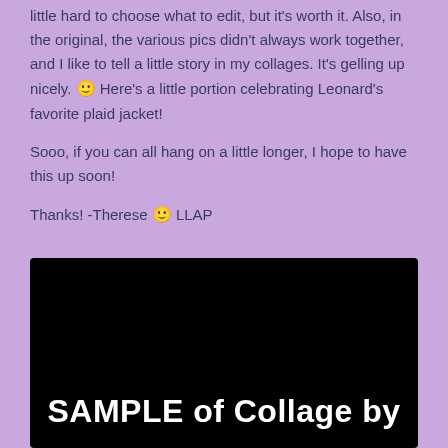little hard to choose what to edit, but it's worth it. Also, in the original, the various pics didn't always work together, and I like to tell a little story in my collages. It's gelling up nicely. 🙂 Here's a little portion celebrating Leonard's favorite plaid jacket!

Sooo, if you can all hang on a little longer, I hope to have this up soon!

Thanks! -Therese 🙂 LLAP
[Figure (other): Black image area with white bold text reading 'SAMPLE of Collage by' at the bottom]